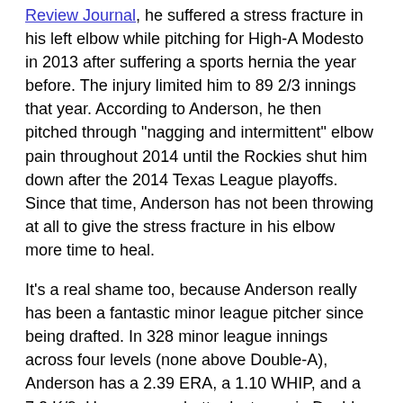Review Journal, he suffered a stress fracture in his left elbow while pitching for High-A Modesto in 2013 after suffering a sports hernia the year before. The injury limited him to 89 2/3 innings that year. According to Anderson, he then pitched through "nagging and intermittent" elbow pain throughout 2014 until the Rockies shut him down after the 2014 Texas League playoffs. Since that time, Anderson has not been throwing at all to give the stress fracture in his elbow more time to heal.
It's a real shame too, because Anderson really has been a fantastic minor league pitcher since being drafted. In 328 minor league innings across four levels (none above Double-A), Anderson has a 2.39 ERA, a 1.10 WHIP, and a 7.2 K/9. He was even better last year in Double-A, despite playing through pain. With the Tulsa Drillers in 2014, Anderson won the Texas League...